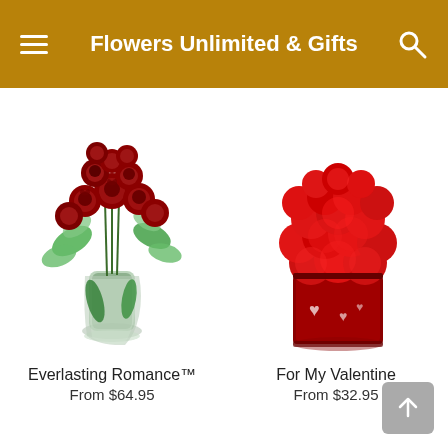Flowers Unlimited & Gifts
[Figure (photo): Red roses bouquet in a glass vase with green foliage — Everlasting Romance]
Everlasting Romance™
From $64.95
[Figure (photo): Red carnations in a decorative red square vase with heart patterns — For My Valentine]
For My Valentine
From $32.95